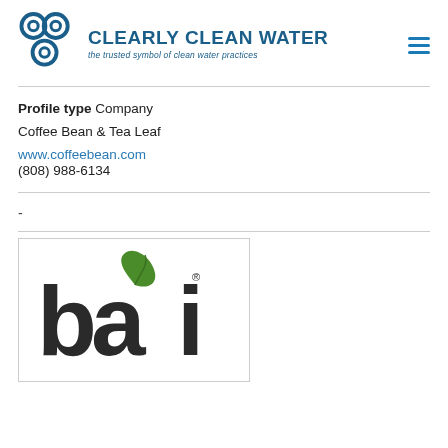[Figure (logo): Clearly Clean Water logo with three blue circular icons and text 'CLEARLY CLEAN WATER - the trusted symbol of clean water practices']
Profile type Company
Coffee Bean & Tea Leaf
www.coffeebean.com
(808) 988-6134
-
[Figure (logo): Bai brand logo showing lowercase 'bai' in dark gray/black with a green leaf above the letter 'a', and a registered trademark symbol]